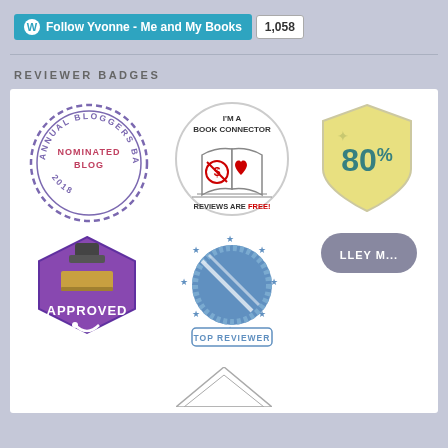[Figure (infographic): WordPress Follow button for 'Yvonne - Me and My Books' with follower count of 1,058]
REVIEWER BADGES
[Figure (infographic): Collection of reviewer badges: Annual Bloggers Bash 2018 Nominated Blog (purple stamp circle), I'm a Book Connector Reviews are Free (circle with open book), 80% (gold shield badge), APPROVED (purple hexagon stamp badge), Top Reviewer (blue circle with stars), and two partially visible badges at bottom]